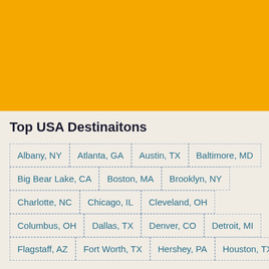[Figure (other): Yellow/orange banner image area at the top of the page]
Top USA Destinaitons
Albany, NY
Atlanta, GA
Austin, TX
Baltimore, MD
Big Bear Lake, CA
Boston, MA
Brooklyn, NY
Charlotte, NC
Chicago, IL
Cleveland, OH
Columbus, OH
Dallas, TX
Denver, CO
Detroit, MI
Flagstaff, AZ
Fort Worth, TX
Hershey, PA
Houston, TX